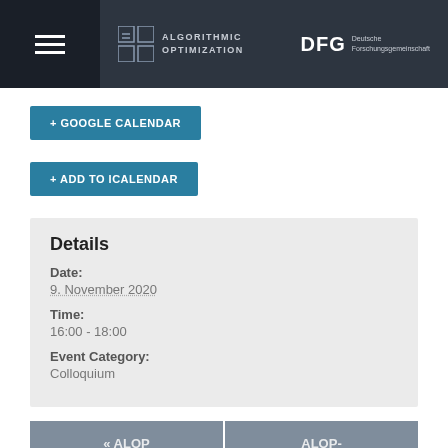[Figure (logo): Algorithmic Optimization (ALOP) logo with grid icon and DFG Deutsche Forschungsgemeinschaft logo in dark top navigation bar]
+ GOOGLE CALENDAR
+ ADD TO ICALENDAR
Details
Date:
9. November 2020
Time:
16:00 - 18:00
Event Category:
Colloquium
« ALOP member Lena Sembach to
ALOP-Colloquium with Prof. Dr